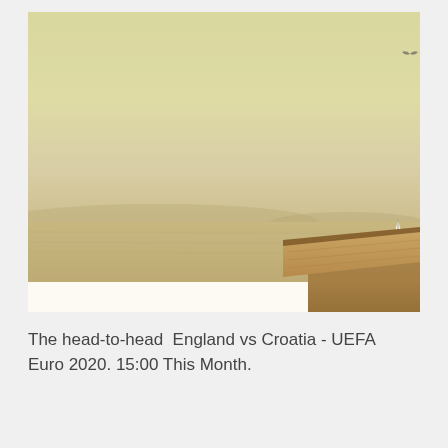[Figure (photo): A hazy, warm-toned outdoor scene showing a foggy sea or lake with distant mountains on the horizon. A small sailboat is visible in the middle distance on the water. In the lower right corner, there is the corner/edge of a wooden table or deck surface. The overall color palette is pale yellow-green and warm beige, with a misty atmospheric quality.]
The head-to-head  England vs Croatia - UEFA Euro 2020. 15:00 This Month.